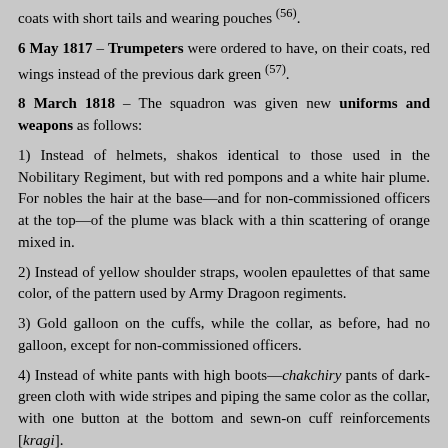coats with short tails and wearing pouches (56).
6 May 1817 – Trumpeters were ordered to have, on their coats, red wings instead of the previous dark green (57).
8 March 1818 – The squadron was given new uniforms and weapons as follows:
1) Instead of helmets, shakos identical to those used in the Nobilitary Regiment, but with red pompons and a white hair plume. For nobles the hair at the base—and for non-commissioned officers at the top—of the plume was black with a thin scattering of orange mixed in.
2) Instead of yellow shoulder straps, woolen epaulettes of that same color, of the pattern used by Army Dragoon regiments.
3) Gold galloon on the cuffs, while the collar, as before, had no galloon, except for non-commissioned officers.
4) Instead of white pants with high boots—chakchiry pants of dark-green cloth with wide stripes and piping the same color as the collar, with one button at the bottom and sewn-on cuff reinforcements [kragi].